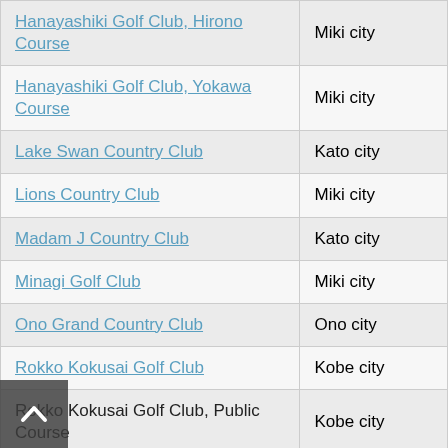| Golf Club | Location |
| --- | --- |
| Hanayashiki Golf Club, Hirono Course | Miki city |
| Hanayashiki Golf Club, Yokawa Course | Miki city |
| Lake Swan Country Club | Kato city |
| Lions Country Club | Miki city |
| Madam J Country Club | Kato city |
| Minagi Golf Club | Miki city |
| Ono Grand Country Club | Ono city |
| Rokko Kokusai Golf Club | Kobe city |
| Rokko Kokusai Golf Club, Public Course | Kobe city |
| Sun Royal Golf Club | Kato city |
| Takamuroike Golf Club | Kato city |
| Takino Country Club, Geihinkan | Kato city |